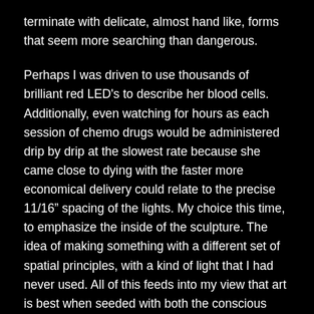terminate with delicate, almost hand like, forms that seem more searching than dangerous.
Perhaps I was driven to use thousands of brilliant red LED's to describe her blood cells. Additionally, even watching for hours as each session of chemo drugs would be administered drip by drip at the slowest rate because she came close to dying with the faster more economical delivery could relate to the precise 11/16" spacing of the lights. My choice this time, to emphasize the inside of the sculpture. The idea of making something with a different set of spatial principles, with a kind of light that I had never used. All of this feeds into my view that art is best when seeded with both the conscious and the subconscious. I don’t think this is one of my best sculptures, but it is done as Mary is done with cancer for now.